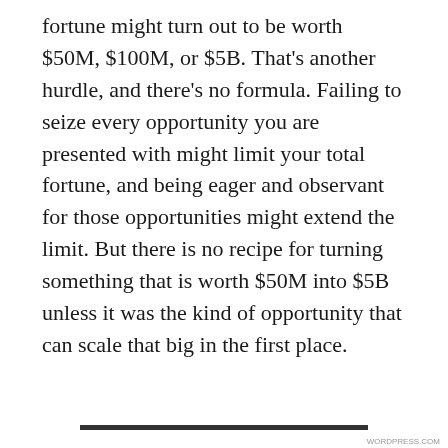fortune might turn out to be worth $50M, $100M, or $5B. That's another hurdle, and there's no formula. Failing to seize every opportunity you are presented with might limit your total fortune, and being eager and observant for those opportunities might extend the limit. But there is no recipe for turning something that is worth $50M into $5B unless it was the kind of opportunity that can scale that big in the first place.
Privacy & Cookies: This site uses cookies. By continuing to use this website, you agree to their use.
To find out more, including how to control cookies, see here:
Cookie Policy